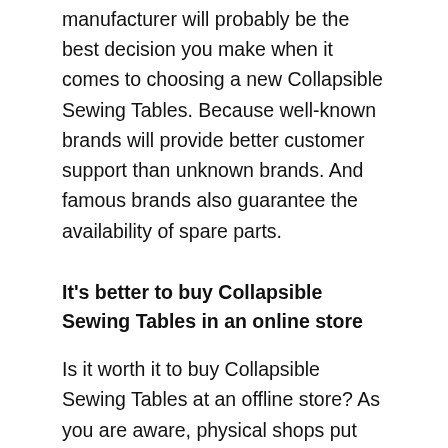manufacturer will probably be the best decision you make when it comes to choosing a new Collapsible Sewing Tables. Because well-known brands will provide better customer support than unknown brands. And famous brands also guarantee the availability of spare parts.
It's better to buy Collapsible Sewing Tables in an online store
Is it worth it to buy Collapsible Sewing Tables at an offline store? As you are aware, physical shops put surcharges on goods since they incur expenses that an online shop does not, such as rent fees. Furthermore, most offline stores do not guarantee a complete refund of the transaction but only replace a